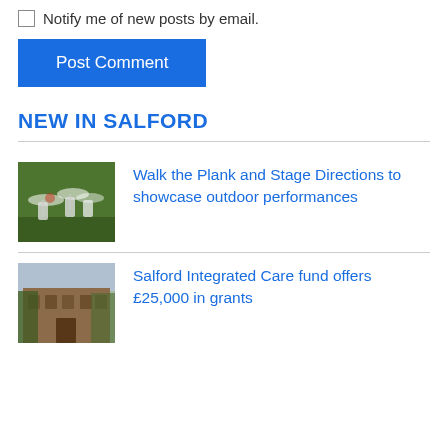Notify me of new posts by email.
Post Comment
NEW IN SALFORD
[Figure (photo): People in white costumes holding transparent umbrellas outdoors with green hedges in background]
Walk the Plank and Stage Directions to showcase outdoor performances
[Figure (photo): A brick building with trees in front, outdoor scene]
Salford Integrated Care fund offers £25,000 in grants